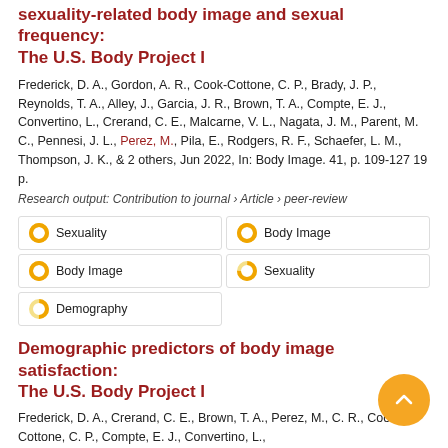sexuality-related body image and sexual frequency: The U.S. Body Project I
Frederick, D. A., Gordon, A. R., Cook-Cottone, C. P., Brady, J. P., Reynolds, T. A., Alley, J., Garcia, J. R., Brown, T. A., Compte, E. J., Convertino, L., Crerand, C. E., Malcarne, V. L., Nagata, J. M., Parent, M. C., Pennesi, J. L., Perez, M., Pila, E., Rodgers, R. F., Schaefer, L. M., Thompson, J. K., & 2 others, Jun 2022, In: Body Image. 41, p. 109-127 19 p.
Research output: Contribution to journal › Article › peer-review
[Figure (infographic): Tag boxes: Sexuality (100% donut), Body Image (100% donut), Body Image (100% donut), Sexuality (75% donut), Demography (50% donut)]
Demographic predictors of body image satisfaction: The U.S. Body Project I
Frederick, D. A., Crerand, C. E., Brown, T. A., Perez, M., C. R., Cook-Cottone, C. P., Compte, E. J., Convertino, L., Gordon, A. R., Malcarne, V. L., Nagata, J. M., Parent, M. C.,